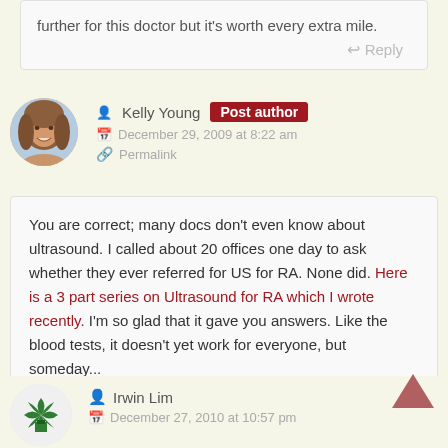further for this doctor but it's worth every extra mile.
Reply
Kelly Young  Post author
December 29, 2009 at 8:22 am
Permalink
You are correct; many docs don't even know about ultrasound. I called about 20 offices one day to ask whether they ever referred for US for RA. None did. Here is a 3 part series on Ultrasound for RA which I wrote recently. I'm so glad that it gave you answers. Like the blood tests, it doesn't yet work for everyone, but someday...
Reply
Irwin Lim
December 27, 2010 at 10:57 pm